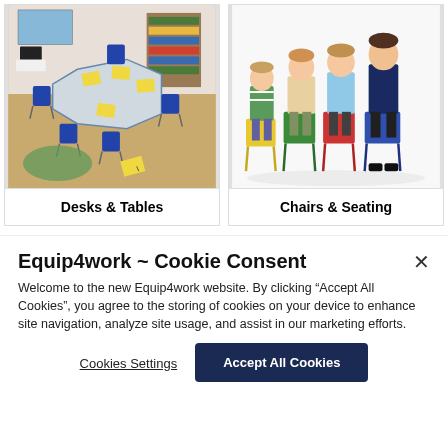[Figure (photo): Classroom scene with hexagonal/dodecagonal table surrounded by blue chairs, yellow papers on table, storage shelves in background]
Desks & Tables
[Figure (photo): Four children of different ages sitting on colorful chairs (yellow, green, red, blue) in a row against white background]
Chairs & Seating
Equip4work ~ Cookie Consent
Welcome to the new Equip4work website. By clicking “Accept All Cookies”, you agree to the storing of cookies on your device to enhance site navigation, analyze site usage, and assist in our marketing efforts.
Cookies Settings
Accept All Cookies